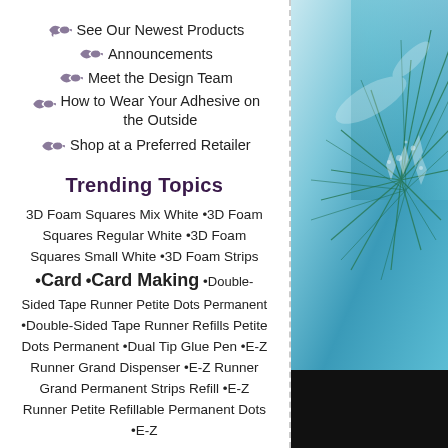See Our Newest Products
Announcements
Meet the Design Team
How to Wear Your Adhesive on the Outside
Shop at a Preferred Retailer
Trending Topics
3D Foam Squares Mix White •3D Foam Squares Regular White •3D Foam Squares Small White •3D Foam Strips •Card •Card Making •Double-Sided Tape Runner Petite Dots Permanent •Double-Sided Tape Runner Refills Petite Dots Permanent •Dual Tip Glue Pen •E-Z Runner Grand Dispenser •E-Z Runner Grand Permanent Strips Refill •E-Z Runner Petite Refillable Permanent Dots •E-Z
[Figure (photo): Blue and teal colored abstract background with pine needles or spiky plant material and water splash/crystals, with a black panel at the bottom right]